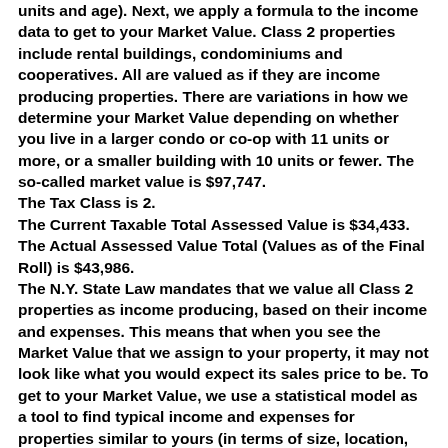units and age). Next, we apply a formula to the income data to get to your Market Value. Class 2 properties include rental buildings, condominiums and cooperatives. All are valued as if they are income producing properties. There are variations in how we determine your Market Value depending on whether you live in a larger condo or co-op with 11 units or more, or a smaller building with 10 units or fewer. The so-called market value is $97,747. The Tax Class is 2. The Current Taxable Total Assessed Value is $34,433. The Actual Assessed Value Total (Values as of the Final Roll) is $43,986. The N.Y. State Law mandates that we value all Class 2 properties as income producing, based on their income and expenses. This means that when you see the Market Value that we assign to your property, it may not look like what you would expect its sales price to be. To get to your Market Value, we use a statistical model as a tool to find typical income and expenses for properties similar to yours (in terms of size, location, and age of